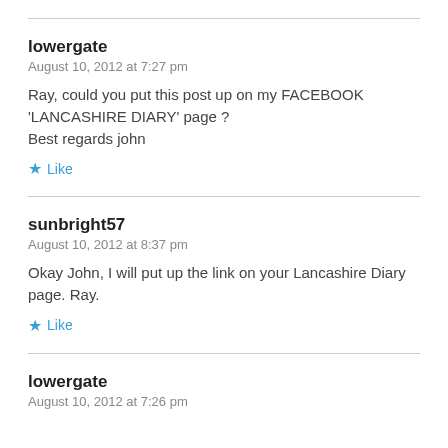lowergate
August 10, 2012 at 7:27 pm
Ray, could you put this post up on my FACEBOOK 'LANCASHIRE DIARY' page ?
Best regards john
Like
sunbright57
August 10, 2012 at 8:37 pm
Okay John, I will put up the link on your Lancashire Diary page. Ray.
Like
lowergate
August 10, 2012 at 7:26 pm